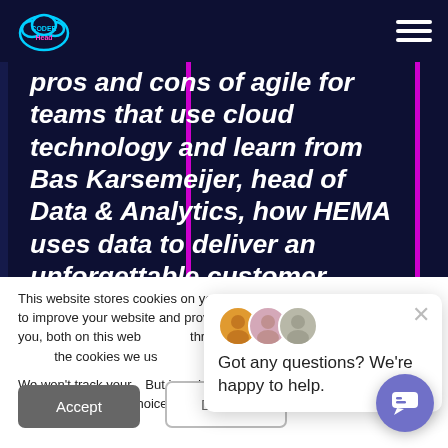CoderHead logo and hamburger menu navigation bar
pros and cons of agile for teams that use cloud technology and learn from Bas Karsemeijer, head of Data & Analytics, how HEMA uses data to deliver an unforgettable customer experience.
This website stores cookies on your computer. These cookies are used to improve your website and provide more personalized services to you, both on this website and through other media. To find out more about the cookies we use...
We won't track your... But in order to comp... have to use just one... asked to make this choice again.
Got any questions? We're happy to help.
Accept
Decline